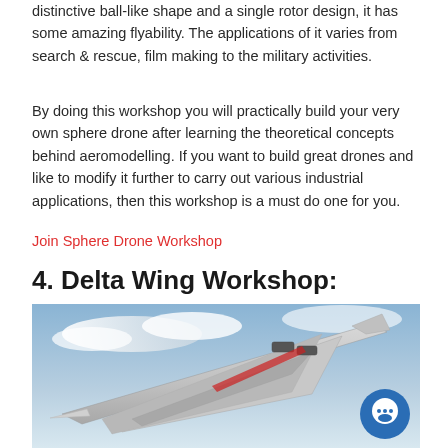distinctive ball-like shape and a single rotor design, it has some amazing flyability. The applications of it varies from search & rescue, film making to the military activities.
By doing this workshop you will practically build your very own sphere drone after learning the theoretical concepts behind aeromodelling. If you want to build great drones and like to modify it further to carry out various industrial applications, then this workshop is a must do one for you.
Join Sphere Drone Workshop
4. Delta Wing Workshop:
[Figure (photo): A Concorde-style delta wing aircraft photographed from below against a blue sky, showing distinctive triangular wing shape and nose cone, with a chat button overlay in the bottom right corner.]